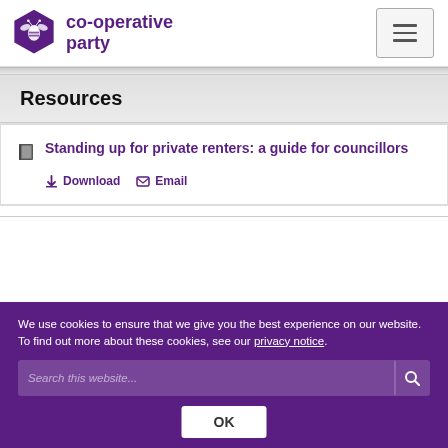[Figure (logo): Co-operative Party logo: purple hexagon with white bee icon and text 'co-operative party' in purple]
Resources
Standing up for private renters: a guide for councillors
Download  Email
We use cookies to ensure that we give you the best experience on our website. To find out more about these cookies, see our privacy notice.